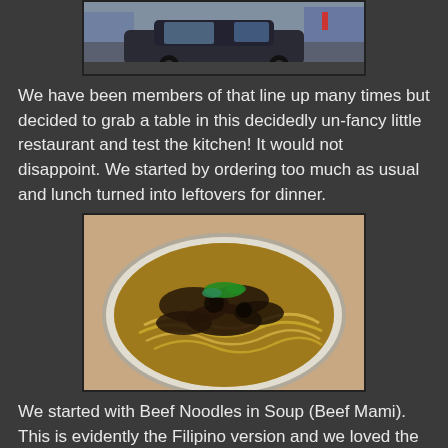[Figure (photo): Photo of a dark car parked outside on a street, partially visible at top of page]
We have been members of that line up many times but decided to grab a table in this decidedly un-fancy little restaurant and test the kitchen! It would not disappoint. We started by ordering too much as usual and lunch turned into leftovers for dinner.
[Figure (photo): Photo of a bowl of Beef Noodles in Soup (Beef Mami) — wheat noodles with silky tender beef slices in broth, topped with green onions]
We started with Beef Noodles in Soup (Beef Mami). This is evidently the Filipino version and we loved the wheat noodles and silky tender beef.
[Figure (photo): Partial photo of another dish, cut off at bottom of page]